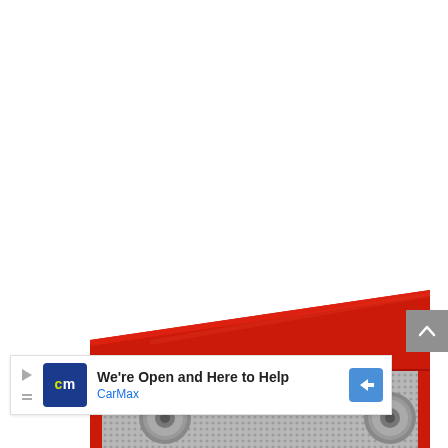[Figure (photo): A red retro-style AM/FM radio with silver grille mesh on the front, two chrome knobs, a frequency dial display, and a glossy red top surface. The image is cropped showing the top and front of the radio against a white background.]
[Figure (infographic): A gray scroll-to-top button with an upward chevron arrow, positioned at the right edge of the page.]
We're Open and Here to Help
CarMax